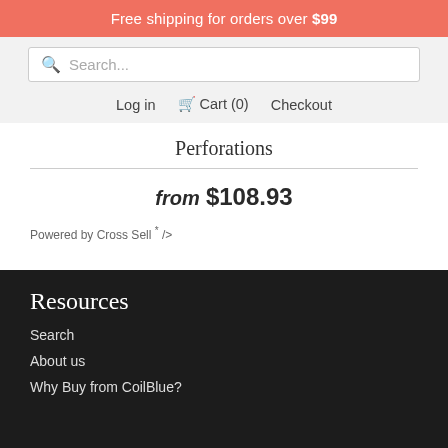Free shipping for orders over $99
Search...
Log in  🛒 Cart (0)  Checkout
Perforations
from $108.93
Powered by Cross Sell * />
Resources
Search
About us
Why Buy from CoilBlue?